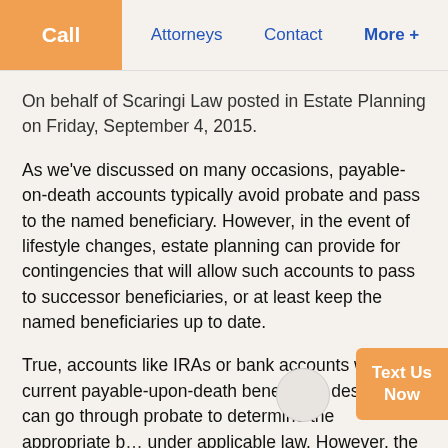Call | Attorneys | Contact | More +
On behalf of Scaringi Law posted in Estate Planning on Friday, September 4, 2015.
As we've discussed on many occasions, payable-on-death accounts typically avoid probate and pass to the named beneficiary. However, in the event of lifestyle changes, estate planning can provide for contingencies that will allow such accounts to pass to successor beneficiaries, or at least keep the named beneficiaries up to date.
True, accounts like IRAs or bank accounts without a current payable-upon-death beneficiary designation can go through probate to determine the appropriate b… under applicable law. However, the national ave…